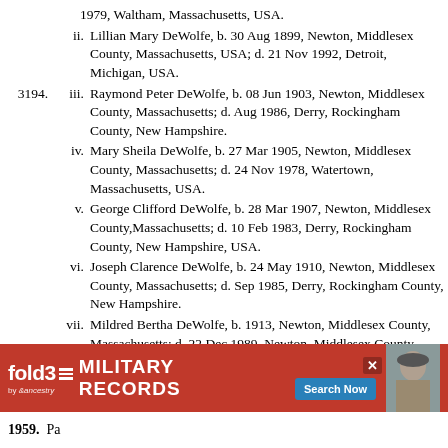1979, Waltham, Massachusetts, USA.
ii. Lillian Mary DeWolfe, b. 30 Aug 1899, Newton, Middlesex County, Massachusetts, USA; d. 21 Nov 1992, Detroit, Michigan, USA.
3194. iii. Raymond Peter DeWolfe, b. 08 Jun 1903, Newton, Middlesex County, Massachusetts; d. Aug 1986, Derry, Rockingham County, New Hampshire.
iv. Mary Sheila DeWolfe, b. 27 Mar 1905, Newton, Middlesex County, Massachusetts; d. 24 Nov 1978, Watertown, Massachusetts, USA.
v. George Clifford DeWolfe, b. 28 Mar 1907, Newton, Middlesex County,Massachusetts; d. 10 Feb 1983, Derry, Rockingham County, New Hampshire, USA.
vi. Joseph Clarence DeWolfe, b. 24 May 1910, Newton, Middlesex County, Massachusetts; d. Sep 1985, Derry, Rockingham County, New Hampshire.
vii. Mildred Bertha DeWolfe, b. 1913, Newton, Middlesex County, Massachusetts; d. 22 Dec 1989, Newton, Middlesex County, Massachusetts.
viii. Etta J. DeWolfe, b. 29 Oct 1914, Newton, Middlesex County, Massachusetts; d. 11 Jan 1996, Watertown, Massachusetts, USA.
[Figure (infographic): fold3 by Ancestry advertisement banner for Military Records with Search Now button and soldier photo]
1959. Pa...